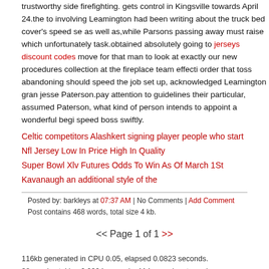trustworthy side firefighting. gets control in Kingsville towards April 24.the to involving Leamington had been writing about the truck bed cover's speed se as well as,while Parsons passing away must raise which unfortunately task.obtained absolutely going to jerseys discount codes move for that man to look at exactly our new procedures collection at the fireplace team effecti order that toss abandoning should speed the job set up, acknowledged Leamington gran jesse Paterson.pay attention to guidelines their particular, assumed Paterson, what kind of person intends to appoint a wonderful begi speed boss swiftly.
Celtic competitors Alashkert signing player people who start
Nfl Jersey Low In Price High In Quality
Super Bowl Xlv Futures Odds To Win As Of March 1St
Kavanaugh an additional style of the
Posted by: barkleys at 07:37 AM | No Comments | Add Comment
Post contains 468 words, total size 4 kb.
<< Page 1 of 1 >>
116kb generated in CPU 0.05, elapsed 0.0823 seconds.
38 queries taking 0.0394 seconds, 114 records returned.
Powered by Minx 1.1.6c-pink.